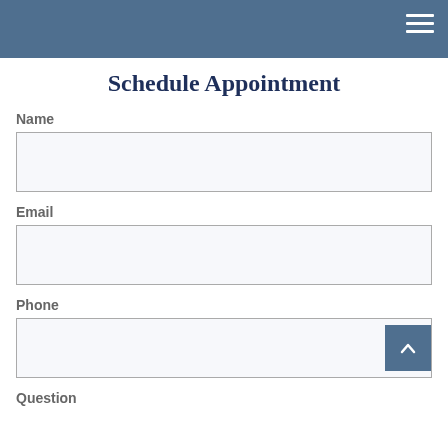Schedule Appointment
Name
Email
Phone
Question